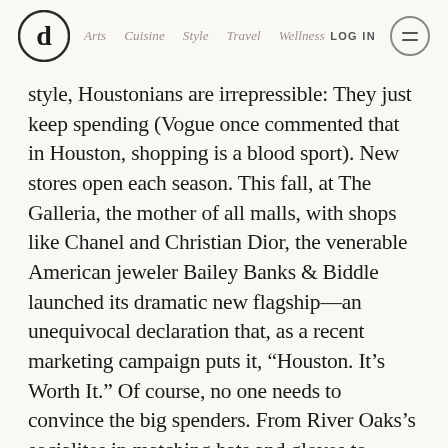Arts  Cuisine  Style  Travel  Wellness   LOG IN
style, Houstonians are irrepressible: They just keep spending (Vogue once commented that in Houston, shopping is a blood sport). New stores open each season. This fall, at The Galleria, the mother of all malls, with shops like Chanel and Christian Dior, the venerable American jeweler Bailey Banks & Biddle launched its dramatic new flagship—an unequivocal declaration that, as a recent marketing campaign puts it, “Houston. It’s Worth It.” Of course, no one needs to convince the big spenders. From River Oaks’s socialites in matching hats and gloves to South American tourists dressed up for the mall, the local shopping scene is as rich and energetic as the city itself.